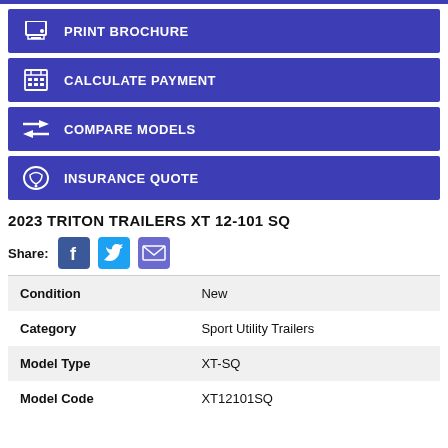PRINT BROCHURE
CALCULATE PAYMENT
COMPARE MODELS
INSURANCE QUOTE
2023 TRITON TRAILERS XT 12-101 SQ
Share:
|  |  |
| --- | --- |
| Condition | New |
| Category | Sport Utility Trailers |
| Model Type | XT-SQ |
| Model Code | XT12101SQ |